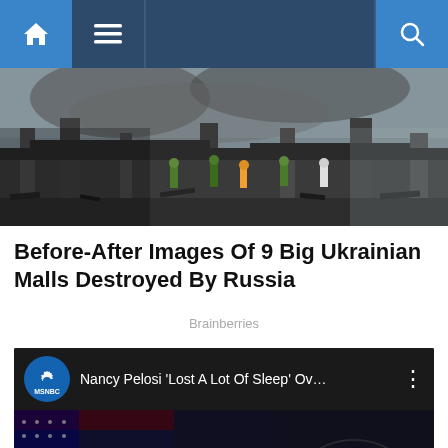Navigation bar with home, menu, and search icons
[Figure (photo): Destroyed building scene with firefighters and debris, fire aftermath at a large structure]
Before-After Images Of 9 Big Ukrainian Malls Destroyed By Russia
Brainberries
[Figure (screenshot): YouTube video thumbnail for MSNBC video titled "Nancy Pelosi 'Lost A Lot Of Sleep' Ov..." showing Nancy Pelosi in front of an American flag with a YouTube play button]